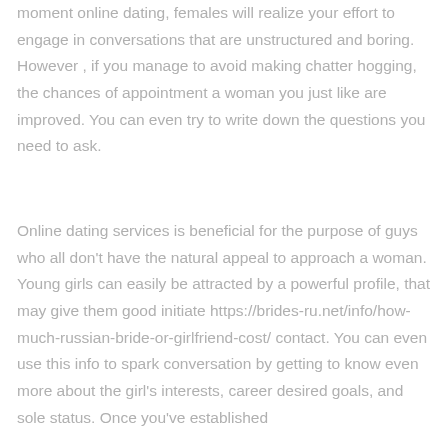moment online dating, females will realize your effort to engage in conversations that are unstructured and boring. However , if you manage to avoid making chatter hogging, the chances of appointment a woman you just like are improved. You can even try to write down the questions you need to ask.
Online dating services is beneficial for the purpose of guys who all don't have the natural appeal to approach a woman. Young girls can easily be attracted by a powerful profile, that may give them good initiate https://brides-ru.net/info/how-much-russian-bride-or-girlfriend-cost/ contact. You can even use this info to spark conversation by getting to know even more about the girl's interests, career desired goals, and sole status. Once you've established